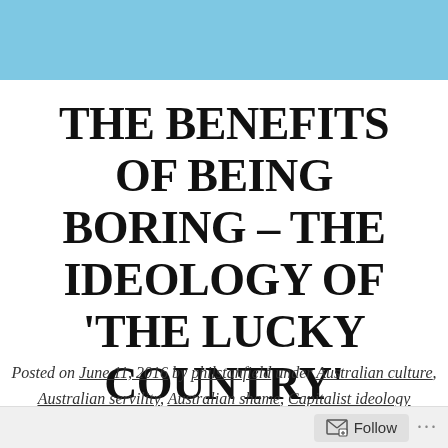[Figure (other): Light blue header banner strip at the top of the page]
THE BENEFITS OF BEING BORING – THE IDEOLOGY OF 'THE LUCKY COUNTRY'
Posted on June 11, 2016 by philstanfield under Australian culture, Australian servility, Australian shame, Capitalist ideology
Follow ...